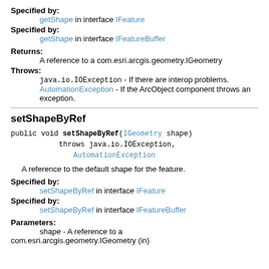Specified by: getShape in interface IFeature
Specified by: getShape in interface IFeatureBuffer
Returns: A reference to a com.esri.arcgis.geometry.IGeometry
Throws: java.io.IOException - If there are interop problems. AutomationException - If the ArcObject component throws an exception.
setShapeByRef
public void setShapeByRef(IGeometry shape) throws java.io.IOException, AutomationException
A reference to the default shape for the feature.
Specified by: setShapeByRef in interface IFeature
Specified by: setShapeByRef in interface IFeatureBuffer
Parameters: shape - A reference to a com.esri.arcgis.geometry.IGeometry (in)